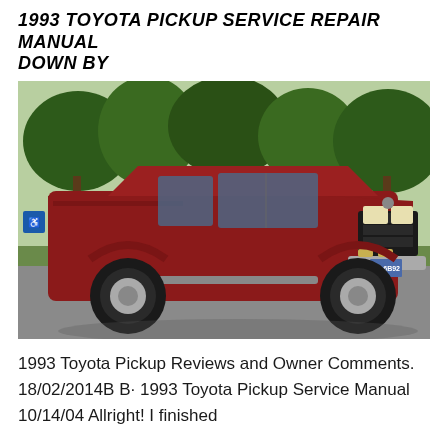1993 TOYOTA PICKUP SERVICE REPAIR MANUAL DOWN BY
[Figure (photo): Red 1993 Toyota Pickup extended cab 4x4 truck parked in a parking lot with trees in background]
1993 Toyota Pickup Reviews and Owner Comments. 18/02/2014B B· 1993 Toyota Pickup Service Manual 10/14/04 Allright! I finished